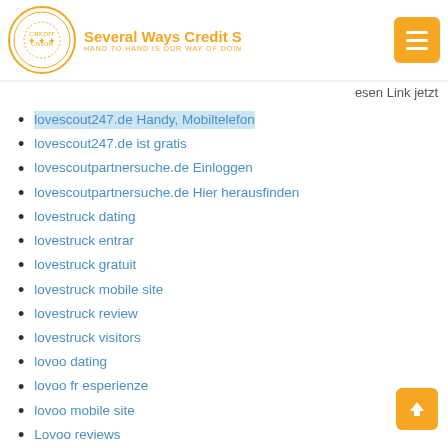Several Ways Credit S... | HAND TO HAND IS OUR WAY OF DOIN...
esen Link jetzt
lovescout247.de Handy, Mobiltelefon
lovescout247.de ist gratis
lovescoutpartnersuche.de Einloggen
lovescoutpartnersuche.de Hier herausfinden
lovestruck dating
lovestruck entrar
lovestruck gratuit
lovestruck mobile site
lovestruck review
lovestruck visitors
lovoo dating
lovoo fr esperienze
lovoo mobile site
Lovoo reviews
lovoo username
lovooapp.de Bewertungen
lovooapp.de versuchen, die Website
low cost payday loans
low fee payday loans
low interest installment loans online